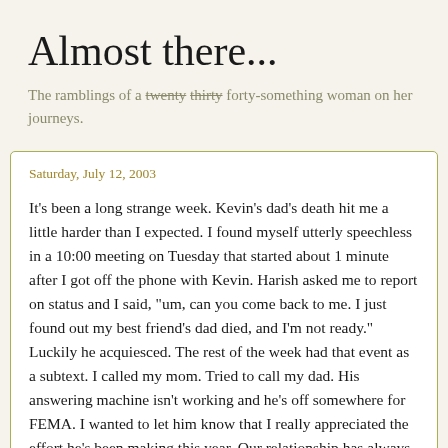Almost there...
The ramblings of a twenty thirty forty-something woman on her journeys.
Saturday, July 12, 2003
It's been a long strange week. Kevin's dad's death hit me a little harder than I expected. I found myself utterly speechless in a 10:00 meeting on Tuesday that started about 1 minute after I got off the phone with Kevin. Harish asked me to report on status and I said, "um, can you come back to me. I just found out my best friend's dad died, and I'm not ready." Luckily he acquiesced. The rest of the week had that event as a subtext. I called my mom. Tried to call my dad. His answering machine isn't working and he's off somewhere for FEMA. I wanted to let him know that I really appreciated the effort he's been making this year. Our relationship has always been rocky because he tends to be